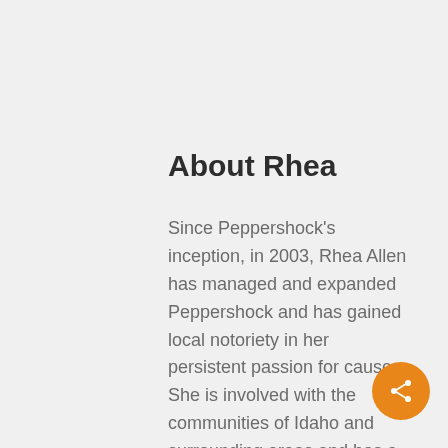About Rhea
Since Peppershock's inception, in 2003, Rhea Allen has managed and expanded Peppershock and has gained local notoriety in her persistent passion for causes. She is involved with the communities of Idaho and surrounding areas and has a vast working knowledge of how to generate awareness for a number of brands and causes. She is extremely
[Figure (illustration): Orange circular share button with share icon (network dots connected by lines) in the bottom right corner]